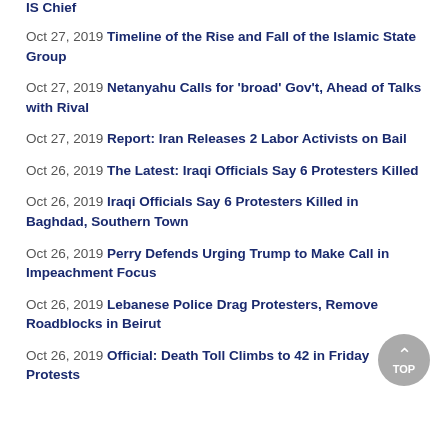IS Chief
Oct 27, 2019 Timeline of the Rise and Fall of the Islamic State Group
Oct 27, 2019 Netanyahu Calls for 'broad' Gov't, Ahead of Talks with Rival
Oct 27, 2019 Report: Iran Releases 2 Labor Activists on Bail
Oct 26, 2019 The Latest: Iraqi Officials Say 6 Protesters Killed
Oct 26, 2019 Iraqi Officials Say 6 Protesters Killed in Baghdad, Southern Town
Oct 26, 2019 Perry Defends Urging Trump to Make Call in Impeachment Focus
Oct 26, 2019 Lebanese Police Drag Protesters, Remove Roadblocks in Beirut
Oct 26, 2019 Official: Death Toll Climbs to 42 in Friday Protests